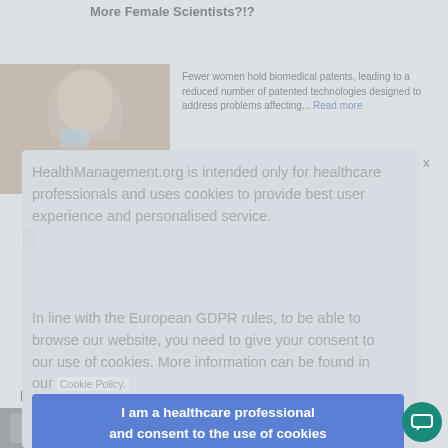More Female Scientists?!?
[Figure (photo): Close-up photo of a female scientist looking through laboratory equipment/microscope]
Fewer women hold biomedical patents, leading to a reduced number of patented technologies designed to address problems affecting... Read more
HealthManagement.org is intended only for healthcare professionals and uses cookies to provide best user experience and personalised service.
In line with the European GDPR rules, to be able to browse our website, you need to give your consent to our use of cookies. More information can be found in our Cookie Policy.
I am a healthcare professional and consent to the use of cookies
Specimen Radiography